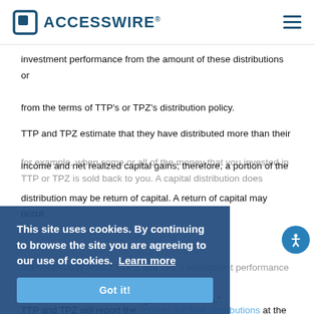ACCESSWIRE®
investment performance from the amount of these distributions or from the terms of TTP's or TPZ's distribution policy.
TTP and TPZ estimate that they have distributed more than their income and net realized capital gains; therefore, a portion of the distribution may be return of capital. A return of capital may occur, for example, when some or all of the money that you invested in TTP or TPZ is sold back to you. A capital distribution does not necessarily reflect TTP's and TPZ's investment performance and should not be confused with "yield" or "income."
TTP and TPZ will report the sources for their distributions at the time of the payment in the applicable Section 19(a) Notice. The amounts and sources of distributions TTP and TPZ report are only estimates